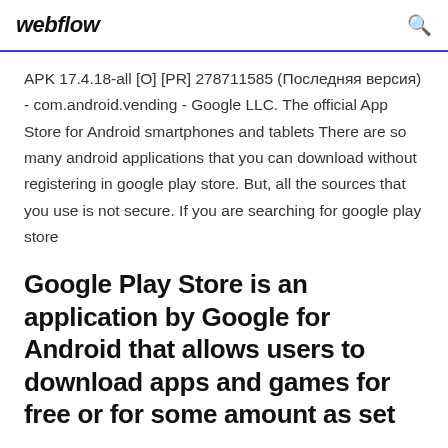webflow
APK 17.4.18-all [O] [PR] 278711585 (Последняя версия) - com.android.vending - Google LLC. The official App Store for Android smartphones and tablets There are so many android applications that you can download without registering in google play store. But, all the sources that you use is not secure. If you are searching for google play store
Google Play Store is an application by Google for Android that allows users to download apps and games for free or for some amount as set